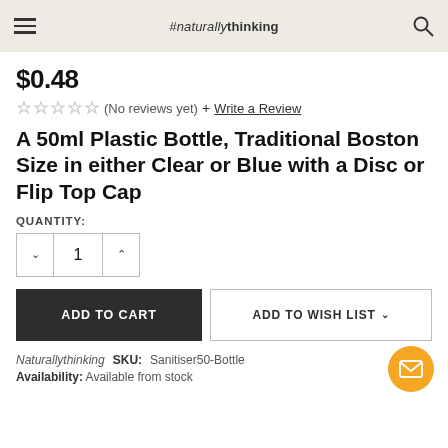naturally thinking
$0.48
(No reviews yet) + Write a Review
A 50ml Plastic Bottle, Traditional Boston Size in either Clear or Blue with a Disc or Flip Top Cap
QUANTITY:
1
ADD TO CART
ADD TO WISH LIST
Naturallythinking   SKU: Sanitiser50-Bottle
Availability: Available from stock